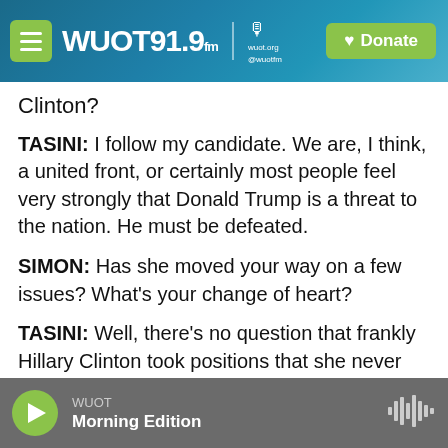WUOT 91.9 FM | wuot.org @wuotfm | Donate
Clinton?
TASINI: I follow my candidate. We are, I think, a united front, or certainly most people feel very strongly that Donald Trump is a threat to the nation. He must be defeated.
SIMON: Has she moved your way on a few issues? What's your change of heart?
TASINI: Well, there's no question that frankly Hillary Clinton took positions that she never had before because of this political movement. If you look at her opposition to the Trans-Pacific Partnership,
WUOT | Morning Edition